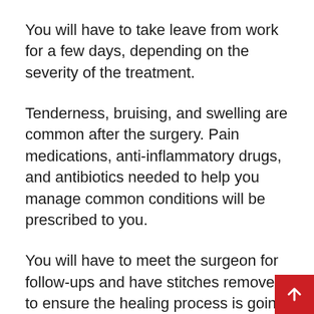You will have to take leave from work for a few days, depending on the severity of the treatment.
Tenderness, bruising, and swelling are common after the surgery. Pain medications, anti-inflammatory drugs, and antibiotics needed to help you manage common conditions will be prescribed to you.
You will have to meet the surgeon for follow-ups and have stitches removed to ensure the healing process is going properly.
Normal work can be resumed two weeks after the surgery, but this is individual-specific: